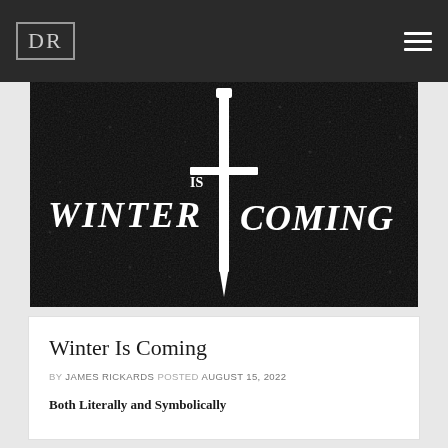DR
[Figure (illustration): Dark black background with speckled texture showing text 'WINTER IS COMING' in large white Gothic/medieval font with a sword/cross symbol in the center dividing the text]
Winter Is Coming
BY JAMES RICKARDS POSTED AUGUST 15, 2022
Both Literally and Symbolically